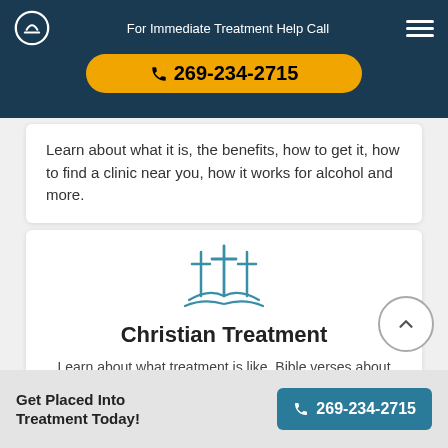For Immediate Treatment Help Call 269-234-2715
Learn about what it is, the benefits, how to get it, how to find a clinic near you, how it works for alcohol and more.
[Figure (illustration): Three Christian crosses on a hill, drawn in teal/blue outline style]
Christian Treatment
Learn about what treatment is like, Bible verses about addiction, resources for Christians, where to find treatment and more.
Get Placed Into Treatment Today! 269-234-2715